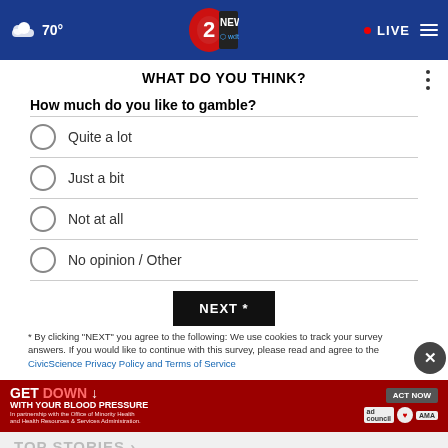[Figure (screenshot): WDTN 2 News website header with blue background, cloud icon, 70° temperature, NBC 2 News logo with wdtn.com text, red LIVE dot, and hamburger menu]
WHAT DO YOU THINK?
How much do you like to gamble?
Quite a lot
Just a bit
Not at all
No opinion / Other
NEXT *
* By clicking "NEXT" you agree to the following: We use cookies to track your survey answers. If you would like to continue with this survey, please read and agree to the CivicScience Privacy Policy and Terms of Service
[Figure (infographic): GET DOWN WITH YOUR BLOOD PRESSURE advertisement banner in red with ACT NOW button and logos for ad council, American Heart Association, and AMA]
TOP STORIES